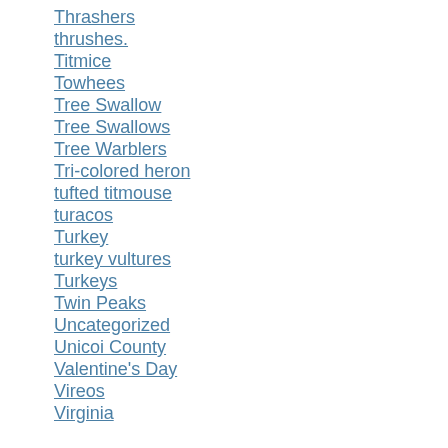Thrashers
thrushes.
Titmice
Towhees
Tree Swallow
Tree Swallows
Tree Warblers
Tri-colored heron
tufted titmouse
turacos
Turkey
turkey vultures
Turkeys
Twin Peaks
Uncategorized
Unicoi County
Valentine's Day
Vireos
Virginia